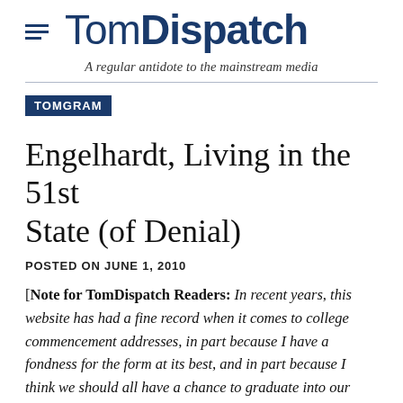TomDispatch — A regular antidote to the mainstream media
TOMGRAM
Engelhardt, Living in the 51st State (of Denial)
POSTED ON JUNE 1, 2010
[Note for TomDispatch Readers: In recent years, this website has had a fine record when it comes to college commencement addresses, in part because I have a fondness for the form at its best, and in part because I think we should all have a chance to graduate into our world,